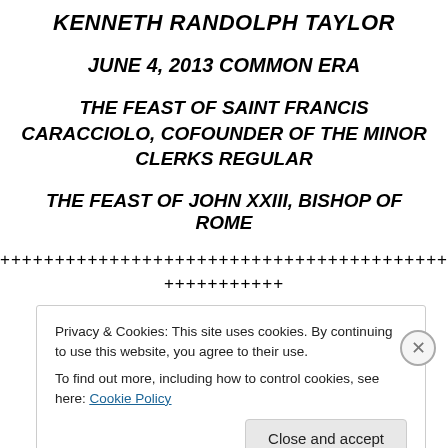KENNETH RANDOLPH TAYLOR
JUNE 4, 2013 COMMON ERA
THE FEAST OF SAINT FRANCIS CARACCIOLO, COFOUNDER OF THE MINOR CLERKS REGULAR
THE FEAST OF JOHN XXIII, BISHOP OF ROME
++++++++++++++++++++++++++++++++++++++++++++++++++
+++++++++++
Privacy & Cookies: This site uses cookies. By continuing to use this website, you agree to their use.
To find out more, including how to control cookies, see here: Cookie Policy
Close and accept